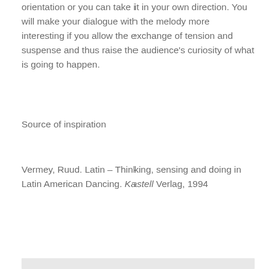orientation or you can take it in your own direction. You will make your dialogue with the melody more interesting if you allow the exchange of tension and suspense and thus raise the audience's curiosity of what is going to happen.
Source of inspiration
Vermey, Ruud. Latin – Thinking, sensing and doing in Latin American Dancing. Kastell Verlag, 1994